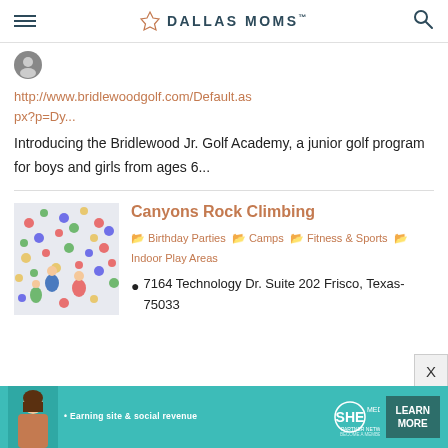DALLAS MOMS
http://www.bridlewoodgolf.com/Default.aspx?p=Dy...
Introducing the Bridlewood Jr. Golf Academy, a junior golf program for boys and girls from ages 6...
[Figure (photo): Rock climbing wall with children climbing colorful holds]
Canyons Rock Climbing
Birthday Parties  Camps  Fitness & Sports  Indoor Play Areas
7164 Technology Dr. Suite 202 Frisco, Texas-75033
[Figure (infographic): SHE Media advertisement banner: Earning site & social revenue, SHE Partner Network, Become a Member, Learn More]